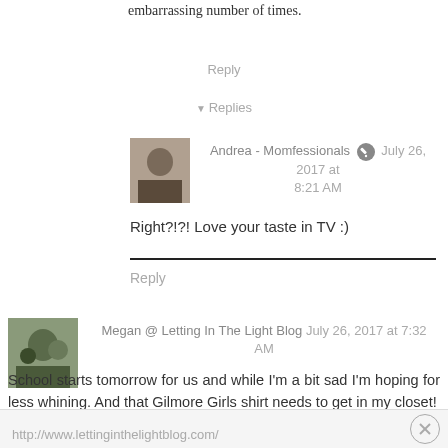embarrassing number of times.
Reply
Replies
Andrea - Momfessionals  July 26, 2017 at 8:21 AM
Right?!?! Love your taste in TV :)
Reply
Megan @ Letting In The Light Blog  July 26, 2017 at 7:32 AM
School starts tomorrow for us and while I'm a bit sad I'm hoping for less whining. And that Gilmore Girls shirt needs to get in my closet!
http://www.lettinginthelightblog.com/